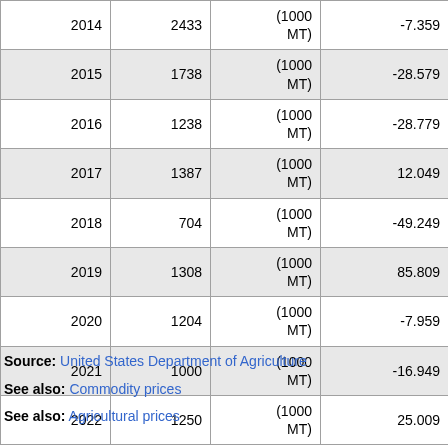| Year | Value | Unit | Change (%) |
| --- | --- | --- | --- |
| 2014 | 2433 | (1000 MT) | -7.359 |
| 2015 | 1738 | (1000 MT) | -28.579 |
| 2016 | 1238 | (1000 MT) | -28.779 |
| 2017 | 1387 | (1000 MT) | 12.049 |
| 2018 | 704 | (1000 MT) | -49.249 |
| 2019 | 1308 | (1000 MT) | 85.809 |
| 2020 | 1204 | (1000 MT) | -7.959 |
| 2021 | 1000 | (1000 MT) | -16.949 |
| 2022 | 1250 | (1000 MT) | 25.009 |
Source: United States Department of Agriculture
See also: Commodity prices
See also: Agricultural prices